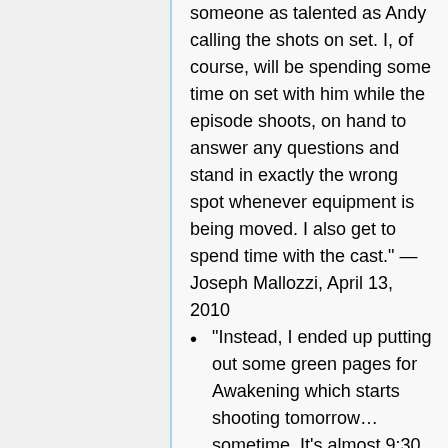someone as talented as Andy calling the shots on set. I, of course, will be spending some time on set with him while the episode shoots, on hand to answer any questions and stand in exactly the wrong spot whenever equipment is being moved. I also get to spend time with the cast." — Joseph Mallozzi, April 13, 2010
"Instead, I ended up putting out some green pages for Awakening which starts shooting tomorrow…sometime. It's almost 9:30 p.m. and I've yet to receive a call sheet. Since it's my episode, I'll spend the day on set loitering around the craft service table and offering Andy unsolicited directing advice ("Hey, you know what would be cool here?! A swish pan!")." — Joseph Mallozzi, April 15,